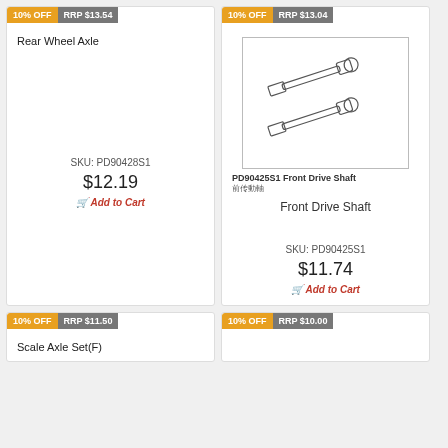[Figure (other): Product card: Rear Wheel Axle, SKU PD90428S1, $12.19, 10% OFF, RRP $13.54]
[Figure (other): Product card: Front Drive Shaft, SKU PD90425S1, $11.74, 10% OFF, RRP $13.04, with line drawing of two drive shafts]
[Figure (other): Partial product card: Scale Axle Set(F), 10% OFF, RRP $11.50]
[Figure (other): Partial product card: 10% OFF, RRP $10.00]